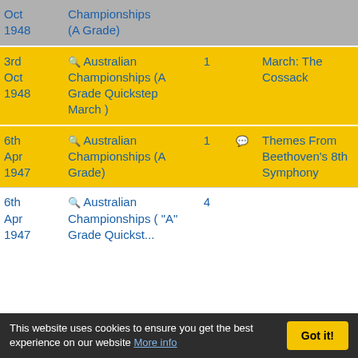| Date | Event | Place |  | Title | Num | Name |
| --- | --- | --- | --- | --- | --- | --- |
| Oct 1948 | 🔍 Championships (A Grade) |  |  |  |  | Kelly |
| 3rd Oct 1948 | 🔍 Australian Championships (A Grade Quickstep March ) | 1 |  | March: The Cossack | 2 | James Kelly |
| 6th Apr 1947 | 🔍 Australian Championships (A Grade) | 1 | 💬 | Themes From Beethoven's 8th Symphony | 2 | Frank Johnst |
| 6th Apr 1947 | 🔍 Australian Championships ( "A" Grade ... | 4 |  |  | 2 | Frank Johnst |
This website uses cookies to ensure you get the best experience on our website More info